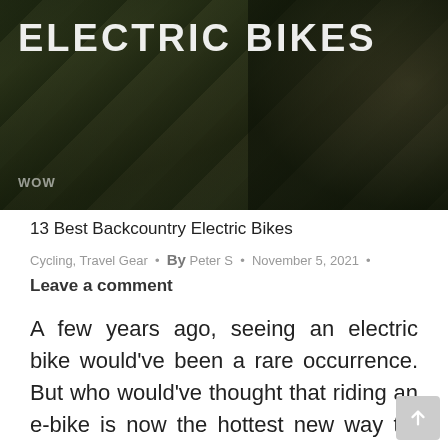[Figure (photo): Hero banner image of electric bikes on rocky backcountry terrain with overlaid text 'ELECTRIC BIKES' and WOW watermark in lower left]
13 Best Backcountry Electric Bikes
Cycling, Travel Gear • By Peter S • November 5, 2021 • Leave a comment
A few years ago, seeing an electric bike would've been a rare occurrence. But who would've thought that riding an e-bike is now the hottest new way to get around town? Aside from being a great way to decrease your carbon footprint, e-bikes can give